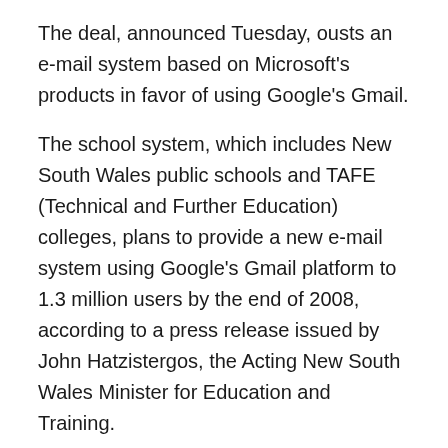The deal, announced Tuesday, ousts an e-mail system based on Microsoft's products in favor of using Google's Gmail.
The school system, which includes New South Wales public schools and TAFE (Technical and Further Education) colleges, plans to provide a new e-mail system using Google's Gmail platform to 1.3 million users by the end of 2008, according to a press release issued by John Hatzistergos, the Acting New South Wales Minister for Education and Training.
"The NSW Department of Education and Training has one of the biggest IT networks in Australia and runs one of the largest wide area networks in the world," explained Hatzistergos, in the press release.
The cost is estimated to be worth $3.1 million...